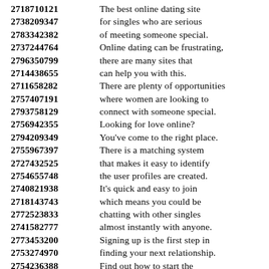2718710121 The best online dating site
2738209347 for singles who are serious
2783342382 of meeting someone special.
2737244764 Online dating can be frustrating,
2796350799 there are many sites that
2714438655 can help you with this.
2711658282 There are plenty of opportunities
2757407191 where women are looking to
2793758129 connect with someone special.
2756942355 Looking for love online?
2794209349 You've come to the right place.
2755967397 There is a matching system
2727432525 that makes it easy to identify
2754655748 the user profiles are created.
2740821938 It's quick and easy to join
2718143743 which means you could be
2772523833 chatting with other singles
2741582777 almost instantly with anyone.
2773453200 Signing up is the first step in
2753274970 finding your next relationship.
2754236388 Find out how to start the
2766229151 dating with the help of a
2731669186 couple of marriage proposals.
2767552652
2716861272 Search by age and location,
2734443778 select one or more options to